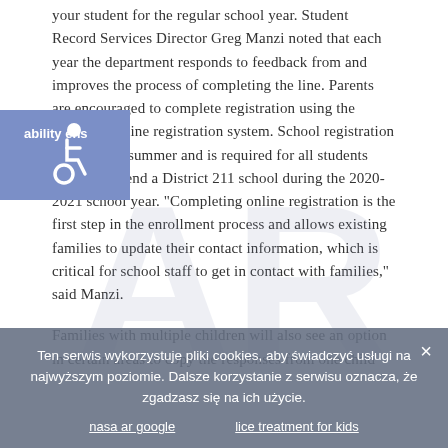your student for the regular school year. Student Record Services Director Greg Manzi noted that each year the department responds to feedback from and improves the process of completing the line. Parents are encouraged to complete registration using the District's online registration system. School registration occurs each summer and is required for all students who will attend a District 211 school during the 2020-2021 school year. "Completing online registration is the first step in the enrollment process and allows existing families to update their contact information, which is critical for school staff to get in contact with families," said Manzi.

Families with multiple children will also see an option in certain areas to copy the responses from one child
[Figure (logo): Accessibility icon badge (blue/purple background with wheelchair symbol) and large watermark logo overlaid on text]
Ten serwis wykorzystuje pliki cookies, aby świadczyć usługi na najwyższym poziomie. Dalsze korzystanie z serwisu oznacza, że zgadzasz się na ich użycie.
nasa ar google    lice treatment for kids